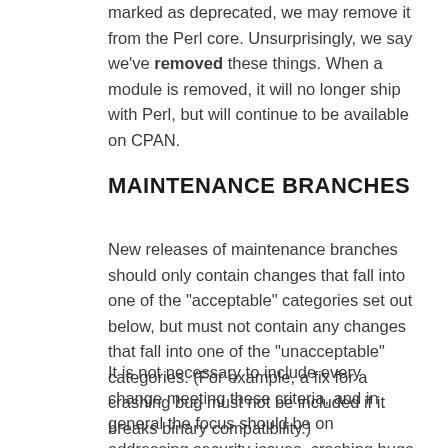marked as deprecated, we may remove it from the Perl core. Unsurprisingly, we say we've removed these things. When a module is removed, it will no longer ship with Perl, but will continue to be available on CPAN.
MAINTENANCE BRANCHES
New releases of maintenance branches should only contain changes that fall into one of the "acceptable" categories set out below, but must not contain any changes that fall into one of the "unacceptable" categories. (For example, a fix for a crashing bug must not be included if it breaks binary compatibility.)
It is not necessary to include every change meeting these criteria, and in general the focus should be on addressing security issues, crashing bugs, regressions and serious installation issues. The temptation to include a plethora of minor changes that don't affect the installation or execution of perl (e.g. spelling corrections